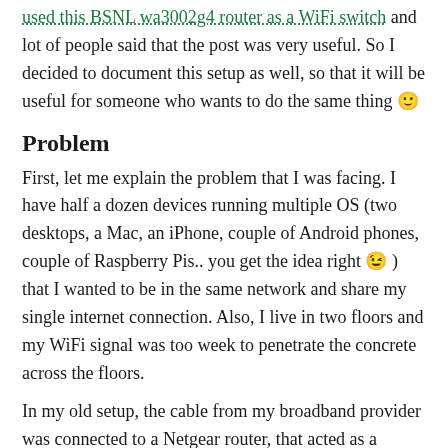used this BSNL wa3002g4 router as a WiFi switch and lot of people said that the post was very useful. So I decided to document this setup as well, so that it will be useful for someone who wants to do the same thing 🙂
Problem
First, let me explain the problem that I was facing. I have half a dozen devices running multiple OS (two desktops, a Mac, an iPhone, couple of Android phones, couple of Raspberry Pis.. you get the idea right 😉 ) that I wanted to be in the same network and share my single internet connection. Also, I live in two floors and my WiFi signal was too week to penetrate the concrete across the floors.
In my old setup, the cable from my broadband provider was connected to a Netgear router, that acted as a network switch as well as a WiFi router. This was in my top floor